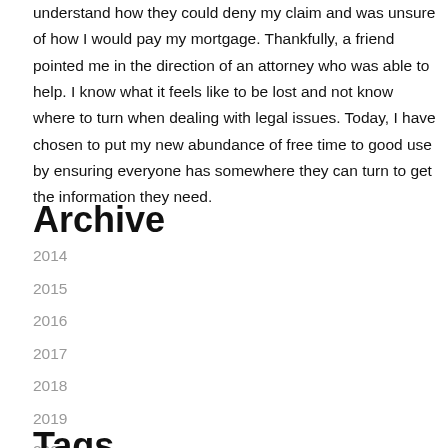understand how they could deny my claim and was unsure of how I would pay my mortgage. Thankfully, a friend pointed me in the direction of an attorney who was able to help. I know what it feels like to be lost and not know where to turn when dealing with legal issues. Today, I have chosen to put my new abundance of free time to good use by ensuring everyone has somewhere they can turn to get the information they need.
Archive
2014
2015
2016
2017
2018
2019
2020
2021
2022
Tags